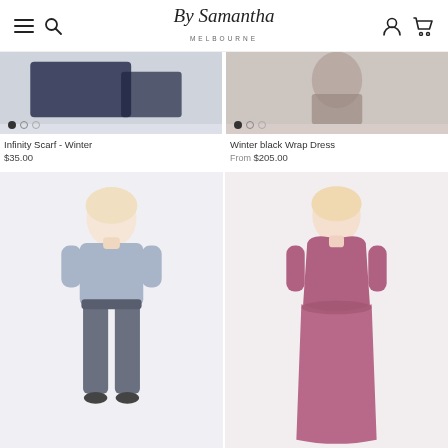By Samantha Melbourne
[Figure (photo): Product photo of Infinity Scarf - Winter, showing dark navy fabric]
Infinity Scarf - Winter
$35.00
[Figure (photo): Product photo of Winter black Wrap Dress]
Winter black Wrap Dress
From $205.00
[Figure (photo): Product photo showing a plus-size model wearing a light blue t-shirt and grey pants]
[Figure (photo): Product photo showing a plus-size model wearing a dark pink/mauve wrap dress]